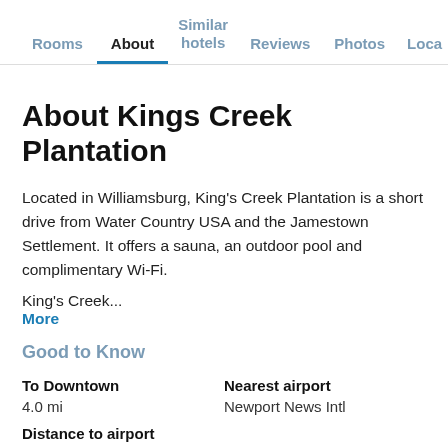Rooms | About | Similar hotels | Reviews | Photos | Loca...
About Kings Creek Plantation
Located in Williamsburg, King's Creek Plantation is a short drive from Water Country USA and the Jamestown Settlement. It offers a sauna, an outdoor pool and complimentary Wi-Fi.
King's Creek...
More
Good to Know
To Downtown
4.0 mi
Nearest airport
Newport News Intl
Distance to airport
12.2 mi